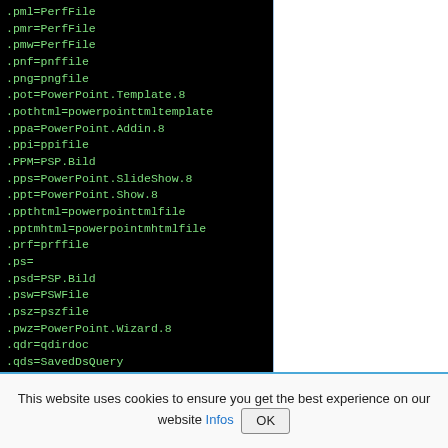.pml=PerfFile
.pmr=PerfFile
.pmw=PerfFile
.pnf=pnffile
.png=pngfile
.pot=PowerPoint.Template.8
.pothtml=powerpointtmltemplate
.ppa=PowerPoint.Addin.8
.ppi=ppifile
.PPM=PSP.Bild
.pps=PowerPoint.SlideShow.8
.ppt=PowerPoint.Show.8
.ppthtml=powerpointtmlfile
.pptmhtml=powerpointmhtmlfile
.prf=prffile
.ps=
.psd=PSP.Bild
.psw=PSWFile
.psz=pszfile
.pwz=PowerPoint.Wizard.8
.qdr=qdirdoc
.qds=SavedDsQuery
.rar=WinMount3.rar
.RAS=PSP.Bild
.rat=ratfile
.RAW=PSP.Bild
This website uses cookies to ensure you get the best experience on our website Infos OK